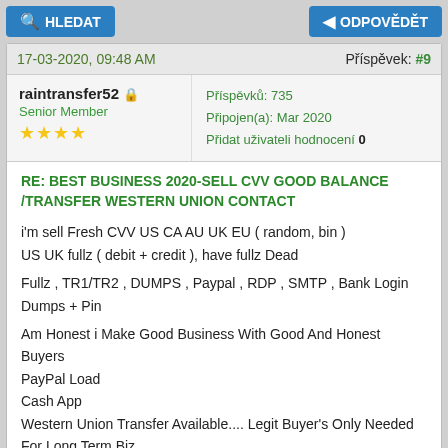HLEDAT | ODPOVĚDĚT
17-03-2020, 09:48 AM | Příspěvek: #9
raintransfer52 Senior Member ★★★★ | Příspěvků: 735 Připojen(a): Mar 2020 Přidat uživateli hodnocení 0
RE: BEST BUSINESS 2020-SELL CVV GOOD BALANCE /TRANSFER WESTERN UNION CONTACT
i'm sell Fresh CVV US CA AU UK EU ( random, bin )
US UK fullz ( debit + credit ), have fullz Dead

Fullz , TR1/TR2 , DUMPS , Paypal , RDP , SMTP , Bank Login
Dumps + Pin

Am Honest i Make Good Business With Good And Honest Buyers
PayPal Load
Cash App
Western Union Transfer Available.... Legit Buyer's Only Needed For Long Term Biz

_________Contact Us__________
ICQ: 750506010
Gmail: raintransfer52@gmail.com